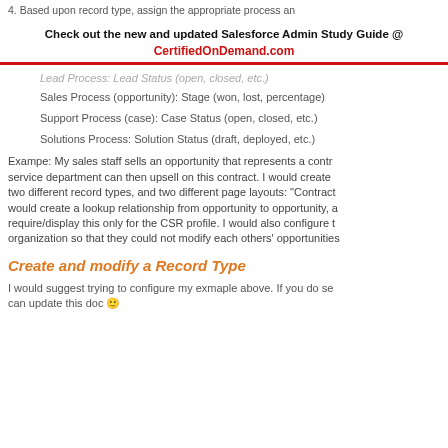4. Based upon record type, assign the appropriate process an
Check out the new and updated Salesforce Admin Study Guide @ CertifiedOnDemand.com
Lead Process:  Lead Status (open, closed, etc.)
Sales Process (opportunity):  Stage (won, lost, percentage)
Support Process (case):  Case Status (open, closed, etc.)
Solutions Process:  Solution Status (draft, deployed, etc.)
Exampe:  My sales staff sells an opportunity that represents a contr... service department can then upsell on this contract.  I would create two different record types, and two different page layouts: "Contract would create a lookup relationship from opportunity to opportunity, a require/display this only for the CSR profile.  I would also configure t organization so that they could not modify each others' opportunities
Create and modify a Record Type
I would suggest trying to configure my exmaple above.  If you do se can update this doc 🙂